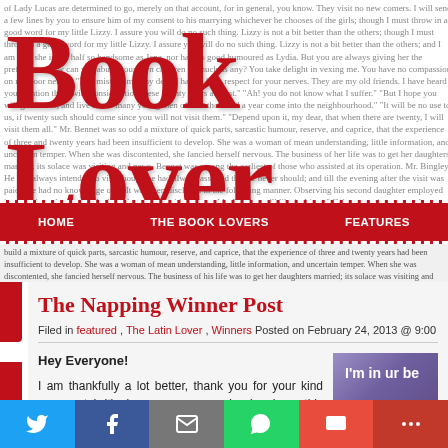[Figure (screenshot): Book Lovers blog website header with large red 'Book Lovers' logo overlaid on faded book text background]
HOME   THE BOOK LOVERS   FEATURES
body text strip below nav
The Napping Winner Post
Filed in featured , The Latin Lover , Winners Posted on February 24, 2013 @ 9:00
Hey Everyone!

I am thankfully a lot better, thank you for your kind comments! It's been so gray and rainy here this weekend, that I spent most
[Figure (photo): Photo showing folded blue/purple fabric with text 'I'm in ur be']
Twitter | Facebook | Email | WhatsApp | SMS | More